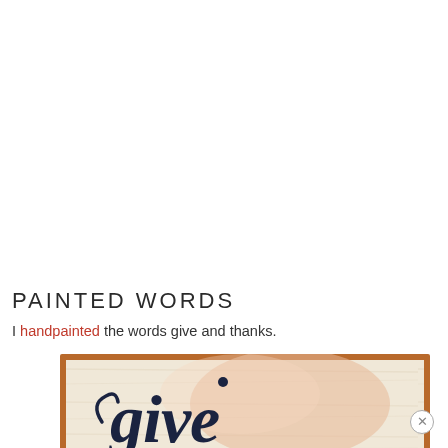PAINTED WORDS
I handpainted the words give and thanks.
[Figure (photo): Framed wooden sign with handpainted script text reading 'give', displayed with a warm wood frame border and light whitewashed wood background. A watermark of the word 'give' in light gray script appears below the framed image.]